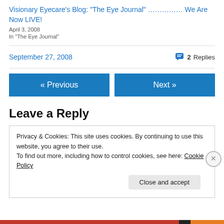Visionary Eyecare’s Blog: “The Eye Journal” …………… We Are Now LIVE!
April 3, 2008
In “The Eye Journal”
September 27, 2008
2 Replies
« Previous
Next »
Leave a Reply
Privacy & Cookies: This site uses cookies. By continuing to use this website, you agree to their use.
To find out more, including how to control cookies, see here: Cookie Policy
Close and accept